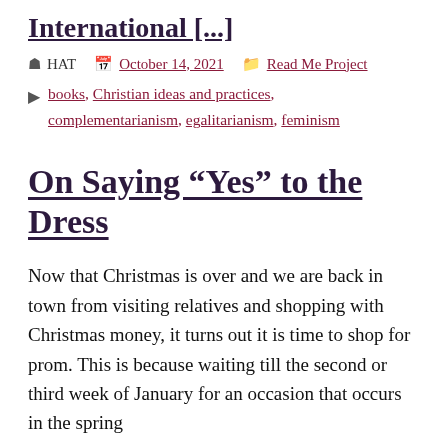International [...]
HAT   October 14, 2021   Read Me Project
books, Christian ideas and practices, complementarianism, egalitarianism, feminism
On Saying “Yes” to the Dress
Now that Christmas is over and we are back in town from visiting relatives and shopping with Christmas money, it turns out it is time to shop for prom. This is because waiting till the second or third week of January for an occasion that occurs in the spring